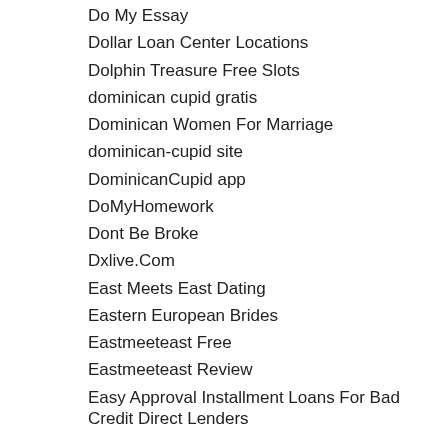Do My Essay
Dollar Loan Center Locations
Dolphin Treasure Free Slots
dominican cupid gratis
Dominican Women For Marriage
dominican-cupid site
DominicanCupid app
DoMyHomework
Dont Be Broke
Dxlive.Com
East Meets East Dating
Eastern European Brides
Eastmeeteast Free
Eastmeeteast Review
Easy Approval Installment Loans For Bad Credit Direct Lenders